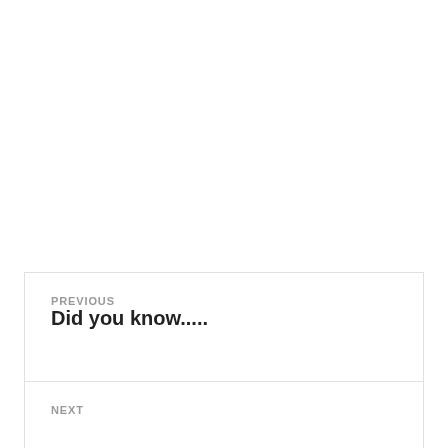PREVIOUS
Did you know.....
NEXT